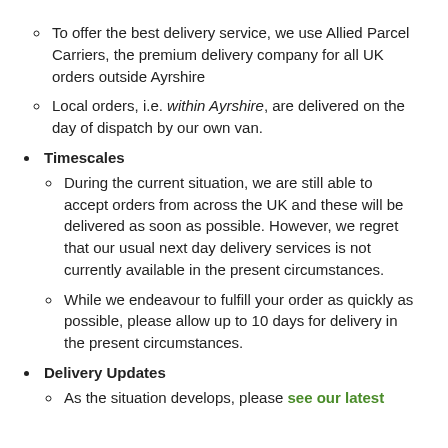To offer the best delivery service, we use Allied Parcel Carriers, the premium delivery company for all UK orders outside Ayrshire
Local orders, i.e. within Ayrshire, are delivered on the day of dispatch by our own van.
Timescales
During the current situation, we are still able to accept orders from across the UK and these will be delivered as soon as possible. However, we regret that our usual next day delivery services is not currently available in the present circumstances.
While we endeavour to fulfill your order as quickly as possible, please allow up to 10 days for delivery in the present circumstances.
Delivery Updates
As the situation develops, please see our latest